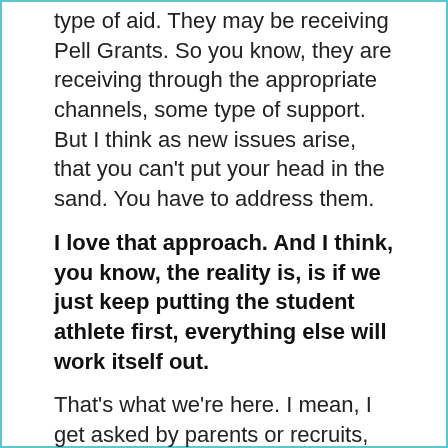type of aid. They may be receiving Pell Grants. So you know, they are receiving through the appropriate channels, some type of support. But I think as new issues arise, that you can't put your head in the sand. You have to address them.
I love that approach. And I think, you know, the reality is, is if we just keep putting the student athlete first, everything else will work itself out.
That's what we're here. I mean, I get asked by parents or recruits, “Well, athletic, what do you do?” You know, I mean, I said, “It’s very simple. We’re in the business of